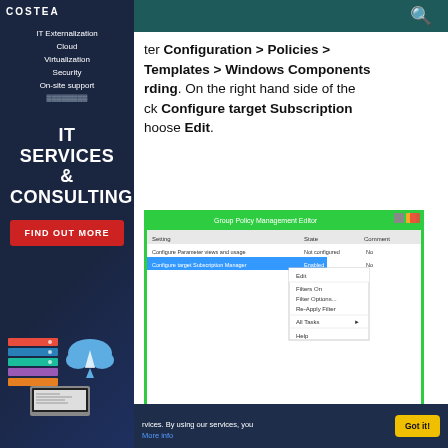COSTEA
IT Externalization
Cloud
Virtualization
Security
On-site support
IT SERVICES & CONSULTING
FIND OUT MORE
ter Configuration > Policies > Templates > Windows Components rding. On the right hand side of the ck Configure target Subscription hoose Edit.
[Figure (screenshot): Group Policy Management Editor window showing Configure target Subscription Manager setting with a right-click context menu open displaying options: Edit, Filters On, Filter Options..., Re-Apply Filter, All Tasks, Help]
rvices. By using our services, you More info
Got it!